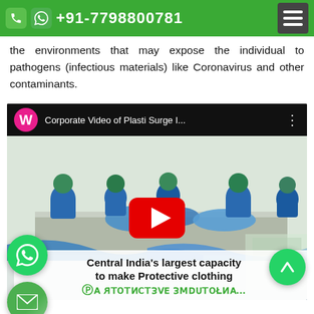+91-7798800781
the environments that may expose the individual to pathogens (infectious materials) like Coronavirus and other contaminants.
[Figure (screenshot): YouTube video embed showing 'Corporate Video of Plasti Surge I...' with a thumbnail of workers in blue PPE suits working at a table in a facility. A red YouTube play button is centered on the thumbnail. Floating WhatsApp and email buttons are visible on the left side.]
Central India's largest capacity to make Protective clothing